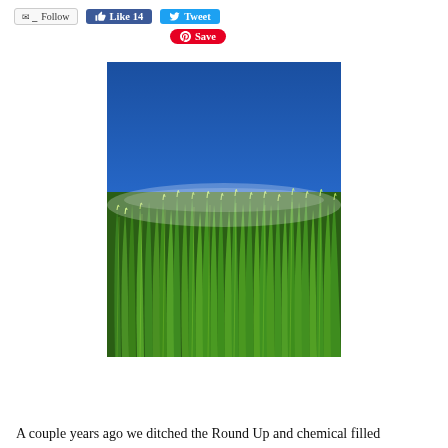[Figure (other): Social media action buttons row: Follow button (email/RSS), Like 14 (Facebook), Tweet (Twitter), Save (Pinterest)]
[Figure (photo): Close-up photograph of tall, lush green grass blades against a bright blue sky background. The grass fills the lower two-thirds of the image with the blue sky in the upper portion.]
A couple years ago we ditched the Round Up and chemical filled